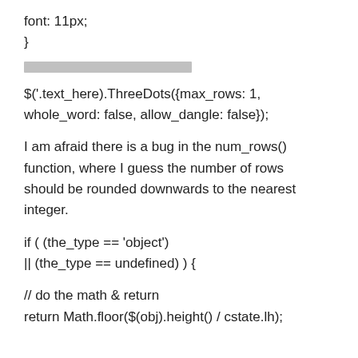font: 11px;
}
[Figure (other): A horizontal bar of grey/redacted text]
$('.text_here).ThreeDots({max_rows: 1, whole_word: false, allow_dangle: false});
I am afraid there is a bug in the num_rows() function, where I guess the number of rows should be rounded downwards to the nearest integer.
if ( (the_type == 'object')
|| (the_type == undefined) ) {
// do the math & return
return Math.floor($(obj).height() / cstate.lh);